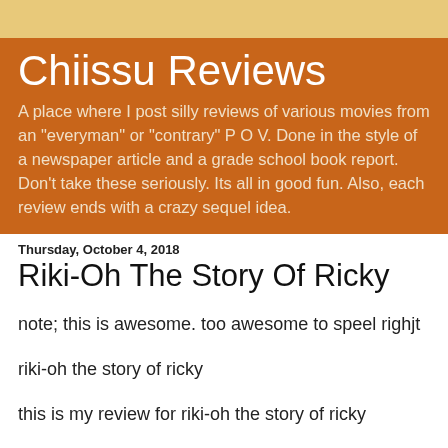Chiissu Reviews
A place where I post silly reviews of various movies from an "everyman" or "contrary" P O V. Done in the style of a newspaper article and a grade school book report. Don't take these seriously. Its all in good fun. Also, each review ends with a crazy sequel idea.
Thursday, October 4, 2018
Riki-Oh The Story Of Ricky
note; this is awesome. too awesome to speel righjt
riki-oh the story of ricky
this is my review for riki-oh the story of ricky
I loved the books
its like fist of the north star but more gore
fist just shows people blowing apart in a spray of blood
here u c da organs and bones
its from da 80s and has super boofy guys punching holes in